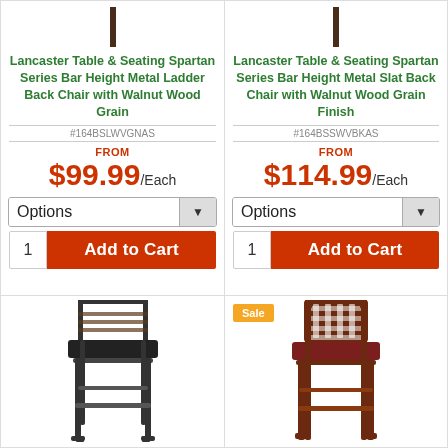[Figure (photo): Top portion of bar chair leg stub for product 1]
Lancaster Table & Seating Spartan Series Bar Height Metal Ladder Back Chair with Walnut Wood Grain
#164BSLWVGNAS
FROM
$99.99/Each
Options
1  Add to Cart
[Figure (photo): Top portion of bar chair leg stub for product 2]
Lancaster Table & Seating Spartan Series Bar Height Metal Slat Back Chair with Walnut Wood Grain Finish
#164BSSWVBKAS
FROM
$114.99/Each
Options
1  Add to Cart
[Figure (photo): Bar height metal ladder back chair with black seat and dark metal frame]
[Figure (photo): Bar height wooden lattice back chair with burgundy/wine seat and mahogany wood frame, Sale badge shown]